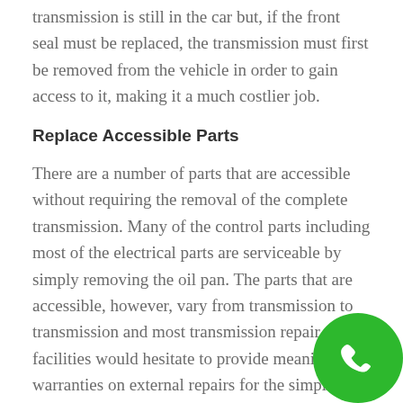transmission is still in the car but, if the front seal must be replaced, the transmission must first be removed from the vehicle in order to gain access to it, making it a much costlier job.
Replace Accessible Parts
There are a number of parts that are accessible without requiring the removal of the complete transmission. Many of the control parts including most of the electrical parts are serviceable by simply removing the oil pan. The parts that are accessible, however, vary from transmission to transmission and most transmission repair facilities would hesitate to provide meaningful warranties on external repairs for the simple reason that they cannot see if there are additional internal problems in the components that are only accessible by transmission removal.